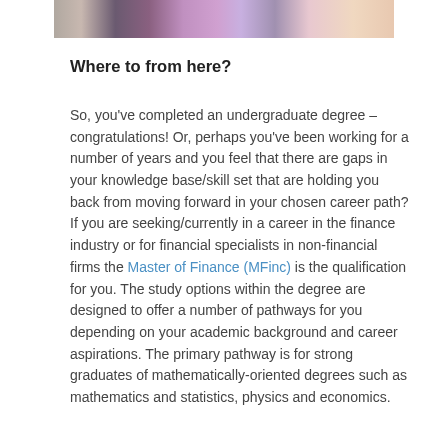[Figure (photo): Cropped bottom portion of a photo showing people walking, wearing colourful clothing including purple and floral outfits.]
Where to from here?
So, you've completed an undergraduate degree – congratulations!  Or, perhaps you've been working for a number of years and you feel that there are gaps in your knowledge base/skill set that are holding you back from moving forward in your chosen career path?  If you are seeking/currently in a career in the finance industry or for financial specialists in non-financial firms the Master of Finance (MFinc) is the qualification for you. The study options within the degree are designed to offer a number of pathways for you depending on your academic background and career aspirations. The primary pathway is for strong graduates of mathematically-oriented degrees such as mathematics and statistics, physics and economics.